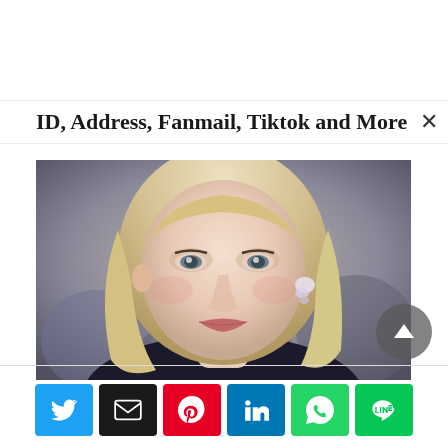ID, Address, Fanmail, Tiktok and More
[Figure (photo): Portrait photo of a blonde woman at a formal event, wearing diamond earrings, smiling slightly, with a blurred crowd background.]
[Figure (infographic): Row of social sharing buttons: Twitter (blue), Email (black), Pinterest (red), LinkedIn (blue), WhatsApp (green), LINE (green).]